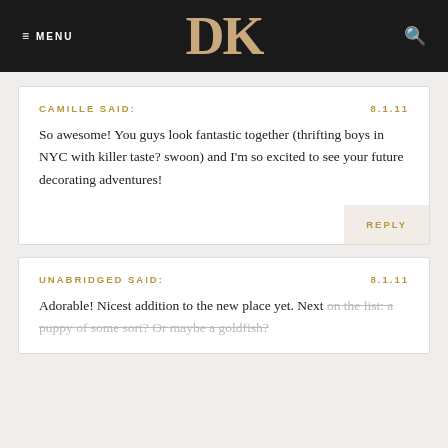≡ MENU  DK  🔍
CAMILLE SAID:   8.1.11
So awesome! You guys look fantastic together (thrifting boys in NYC with killer taste? swoon) and I'm so excited to see your future decorating adventures!
REPLY
UNABRIDGED SAID:   8.1.11
Adorable! Nicest addition to the new place yet. Next on the list: a puppy of some sort? Or maybe a goldfish?